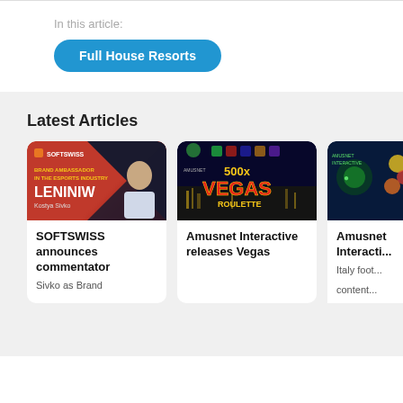In this article:
Full House Resorts
Latest Articles
[Figure (photo): SOFTSWISS brand ambassador article card showing Kostya Sivko with red background and LENINIW text]
SOFTSWISS announces commentator
Sivko as Brand
[Figure (photo): Amusnet Interactive Vegas 500x article card with Las Vegas night skyline and neon text]
Amusnet Interactive releases Vegas
[Figure (photo): Amusnet Interactive Italy football content article card with dark blue background]
Amusnet Interacti...
content...